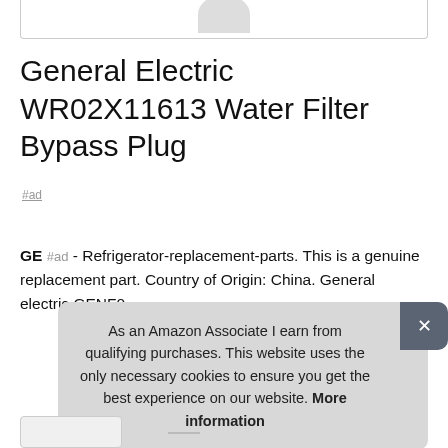[Figure (photo): Partial product image box at top showing a gray/white rounded object (water filter bypass plug) cropped at the top edge]
General Electric WR02X11613 Water Filter Bypass Plug
#ad
GE #ad - Refrigerator-replacement-parts. This is a genuine replacement part. Country of Origin: China. General electric GENF0 .
As an Amazon Associate I earn from qualifying purchases. This website uses the only necessary cookies to ensure you get the best experience on our website. More information